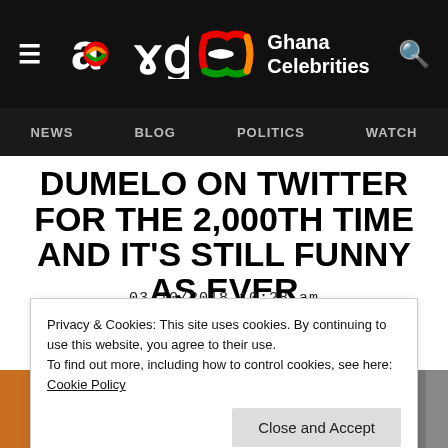Ghana Celebrities — NEWS | BLOG | POLITICS | WATCH
DUMELO ON TWITTER FOR THE 2,000TH TIME AND IT'S STILL FUNNY AS EVER
03/10/2018 10:28 am
Privacy & Cookies: This site uses cookies. By continuing to use this website, you agree to their use.
To find out more, including how to control cookies, see here:
Cookie Policy
Close and Accept
[Figure (photo): Partial photo strip at the bottom of the page showing people, partially obscured by the cookie consent banner]